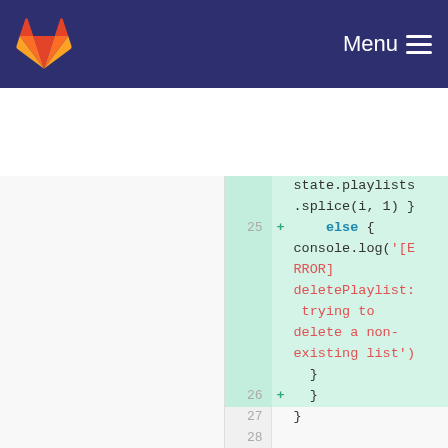GitLab — Menu
[Figure (screenshot): Code diff view showing JavaScript code with line numbers. Left panel shows lines 2-4 with closing brace, empty line, and const getters = {. Right panel shows lines 25-31 with added lines (marked +) including else block with console.log error message and playlists getter.]